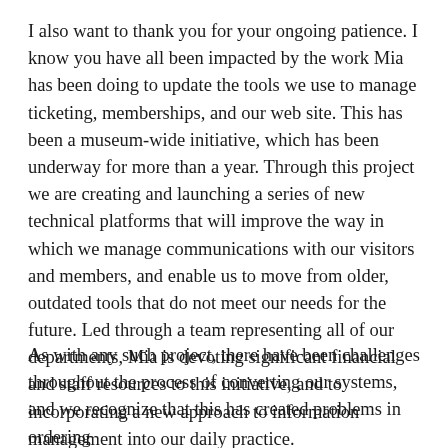I also want to thank you for your ongoing patience. I know you have all been impacted by the work Mia has been doing to update the tools we use to manage ticketing, memberships, and our web site. This has been a museum-wide initiative, which has been underway for more than a year. Through this project we are creating and launching a series of new technical platforms that will improve the way in which we manage communications with our visitors and members, and enable us to move from older, outdated tools that do not meet our needs for the future. Led through a team representing all of our departments, Mia is devoting significant financial and staff resources to this initiative, and to incorporating a new approach to information management into our daily practice.
As with any such project, there have been challenges throughout the process of converting our systems, and we recognize that this has created problems in ordering